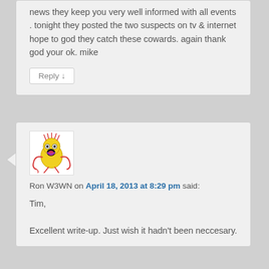news they keep you very well informed with all events . tonight they posted the two suspects on tv & internet hope to god they catch these cowards. again thank god your ok. mike
Reply ↓
[Figure (illustration): Cartoon avatar of a yellow blob-like character with tentacles and googly eyes]
Ron W3WN on April 18, 2013 at 8:29 pm said:
Tim,

Excellent write-up. Just wish it hadn't been neccesary.